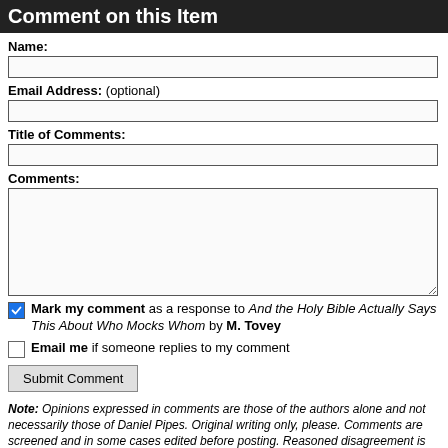Comment on this Item
Name:
Email Address: (optional)
Title of Comments:
Comments:
Mark my comment as a response to And the Holy Bible Actually Says This About Who Mocks Whom by M. Tovey
Email me if someone replies to my comment
Submit Comment
Note: Opinions expressed in comments are those of the authors alone and not necessarily those of Daniel Pipes. Original writing only, please. Comments are screened and in some cases edited before posting. Reasoned disagreement is welcome but not comments that are scurrilous, off-topic, commercial, disparaging religions, or otherwise inappropriate. For complete regulations, see the "Guidelines for Reader Comments".